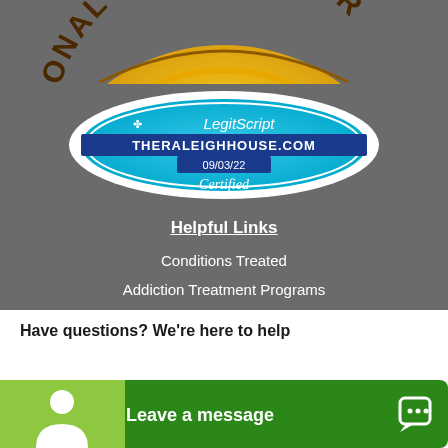[Figure (logo): Partial gold quality approval seal showing 'ONAL QUALITY APPR' text arc at top, gold colored circular badge, partially cropped]
[Figure (logo): LegitScript Certified badge - blue oval shape with LegitScript logo, THERALEIGHHOUSE.COM text, date 09/03/22, and 'Certified' text]
Helpful Links
Conditions Treated
Addiction Treatment Programs
Have questions? We're here to help
[Figure (screenshot): Green chat widget bar with person icon on left and 'Leave a message' text with chat bubble icon on right]